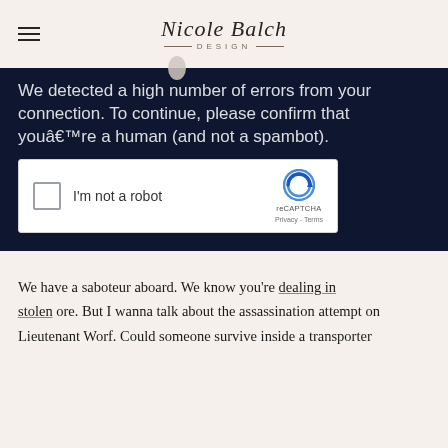NICOLE BALCH DESIGN
We detected a high number of errors from your connection. To continue, please confirm that youâ€™re a human (and not a spambot).
[Figure (screenshot): reCAPTCHA widget with checkbox labeled I'm not a robot, reCAPTCHA logo, Privacy and Terms links]
We have a saboteur aboard. We know you’re dealing in stolen ore. But I wanna talk about the assassination attempt on Lieutenant Worf. Could someone survive inside a transporter